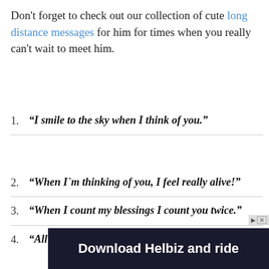Don't forget to check out our collection of cute long distance messages for him for times when you really can't wait to meet him.
1. "I smile to the sky when I think of you."
2. "When I'm thinking of you, I feel really alive!"
3. "When I count my blessings I count you twice."
4. "All problems disappear when I think about you!"
[Figure (screenshot): Advertisement banner: Download Helbiz and ride]